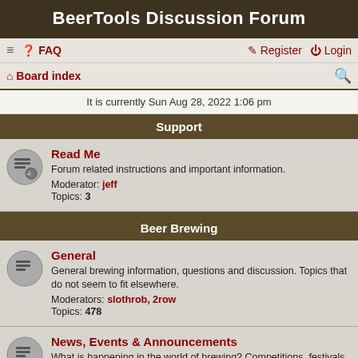BeerTools Discussion Forum
≡  FAQ   Register  Login
Board index
It is currently Sun Aug 28, 2022 1:06 pm
Support
Read Me
Forum related instructions and important information.
Moderator: jeff
Topics: 3
Beer Brewing
General
General brewing information, questions and discussion. Topics that do not seem to fit elsewhere.
Moderators: slothrob, 2row
Topics: 478
News, Events & Announcements
What is happening in the world of brewing? Competitions, festivals, seminars, tastings and club events. Personal experiences and victories.
Moderator: slothrob
Topics: 93
Tasting & Experiencing
Reactions to and impressions of commercial and home made beers and